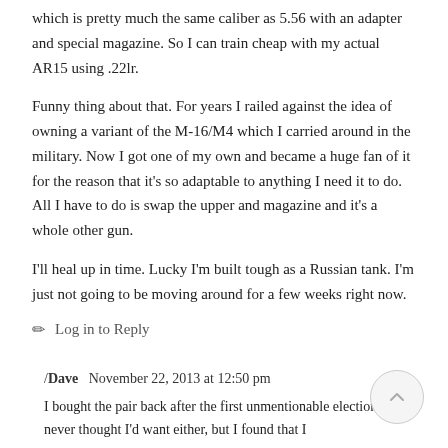which is pretty much the same caliber as 5.56 with an adapter and special magazine. So I can train cheap with my actual AR15 using .22lr.
Funny thing about that. For years I railed against the idea of owning a variant of the M-16/M4 which I carried around in the military. Now I got one of my own and became a huge fan of it for the reason that it's so adaptable to anything I need it to do. All I have to do is swap the upper and magazine and it's a whole other gun.
I'll heal up in time. Lucky I'm built tough as a Russian tank. I'm just not going to be moving around for a few weeks right now.
✏ Log in to Reply
/Dave  November 22, 2013 at 12:50 pm
I bought the pair back after the first unmentionable election…. I never thought I'd want either, but I found that I